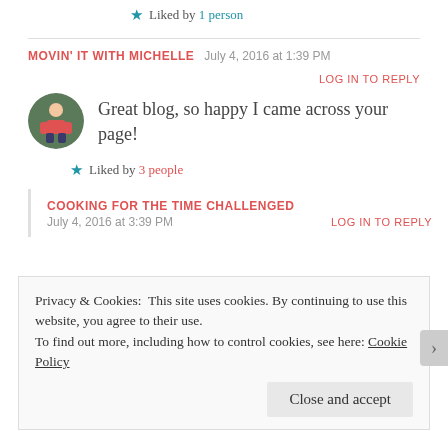Liked by 1 person
MOVIN' IT WITH MICHELLE  July 4, 2016 at 1:39 PM  LOG IN TO REPLY
Great blog, so happy I came across your page!
Liked by 3 people
COOKING FOR THE TIME CHALLENGED  July 4, 2016 at 3:39 PM  LOG IN TO REPLY
Privacy & Cookies: This site uses cookies. By continuing to use this website, you agree to their use. To find out more, including how to control cookies, see here: Cookie Policy
Close and accept